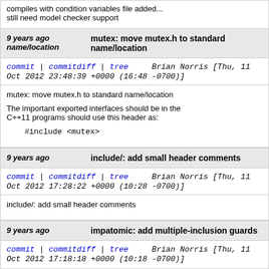compiles with condition variables file added...
still need model checker support
9 years ago    mutex: move mutex.h to standard name/location
commit | commitdiff | tree    Brian Norris [Thu, 11 Oct 2012 23:48:39 +0000 (16:48 -0700)]
mutex: move mutex.h to standard name/location

The important exported interfaces should be in the
C++11 programs should use this header as:

    #include <mutex>
9 years ago    include/: add small header comments
commit | commitdiff | tree    Brian Norris [Thu, 11 Oct 2012 17:28:22 +0000 (10:28 -0700)]
include/: add small header comments
9 years ago    impatomic: add multiple-inclusion guards
commit | commitdiff | tree    Brian Norris [Thu, 11 Oct 2012 17:18:18 +0000 (10:18 -0700)]